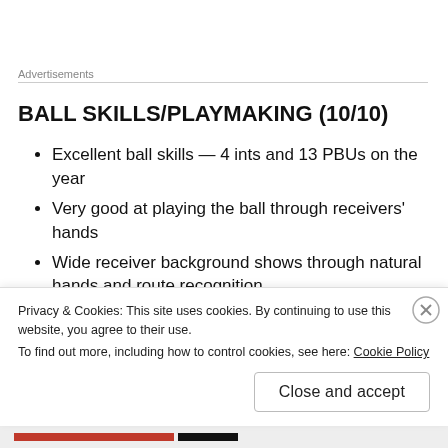Advertisements
BALL SKILLS/PLAYMAKING (10/10)
Excellent ball skills — 4 ints and 13 PBUs on the year
Very good at playing the ball through receivers' hands
Wide receiver background shows through natural hands and route recognition
Times jumps well and high points the football consistently
High vertical allows him to contest jump balls
Privacy & Cookies: This site uses cookies. By continuing to use this website, you agree to their use.
To find out more, including how to control cookies, see here: Cookie Policy
Close and accept